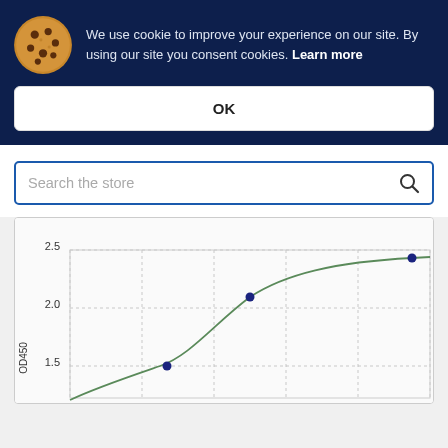We use cookie to improve your experience on our site. By using our site you consent cookies. Learn more
OK
Search the store
[Figure (continuous-plot): Scatter plot with fitted curve showing data points at approximately (x~0.3, y~1.3), (x~0.5, y~2.02), and (x~0.95, y~2.4) with a logarithmic/saturation curve fitted through them. Y-axis shows values from ~1.5 to 2.5, labeled OD450. X-axis gridlines visible at regular intervals.]